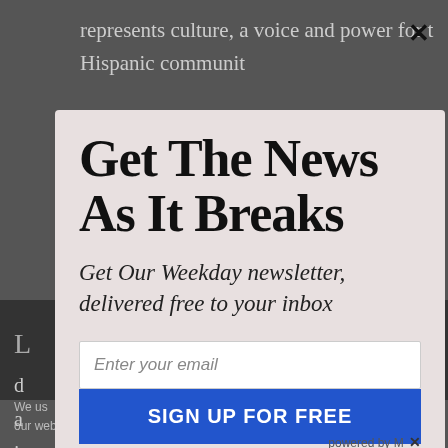represents culture, a voice and power for the Hispanic community
We use... our web...
Get The News As It Breaks
Get Our Weekday newsletter, delivered free to your inbox
Enter your email
SIGN UP FOR FREE
powered by M